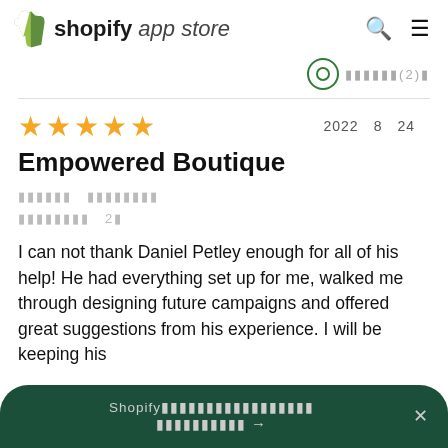shopify app store
2022年8月24日 — Empowered Boutique — 5 stars review
Empowered Boutique
I can not thank Daniel Petley enough for all of his help! He had everything set up for me, walked me through designing future campaigns and offered great suggestions from his experience. I will be keeping his
Shopify アプリストアへようこそ アプリを見つける →